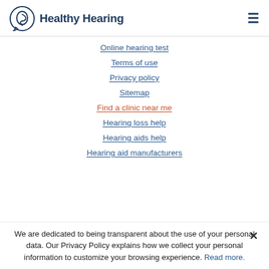Healthy Hearing
Online hearing test
Terms of use
Privacy policy
Sitemap
Find a clinic near me
Hearing loss help
Hearing aids help
Hearing aid manufacturers
We are dedicated to being transparent about the use of your personal data. Our Privacy Policy explains how we collect your personal information to customize your browsing experience. Read more.